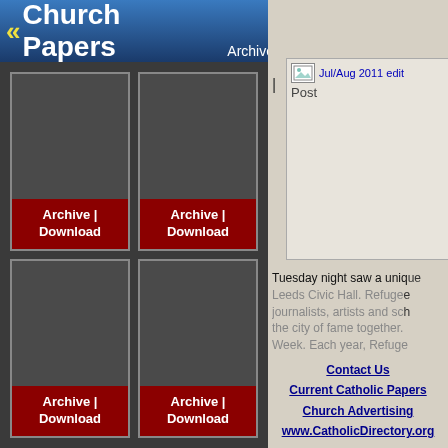« Church Papers Archive
[Figure (screenshot): Grid of 4 dark cards each with a red 'Archive | Download' button at the bottom]
[Figure (screenshot): Broken image placeholder labeled Jul/Aug 2011 edit with Post text below]
Tuesday night saw a unique Leeds Civic Hall. Refugee journalists, artists and sch the city of fame together. Week. Each year, Refuge opportunity to look at
Contact Us
Current Catholic Papers
Church Advertising
www.CatholicDirectory.org